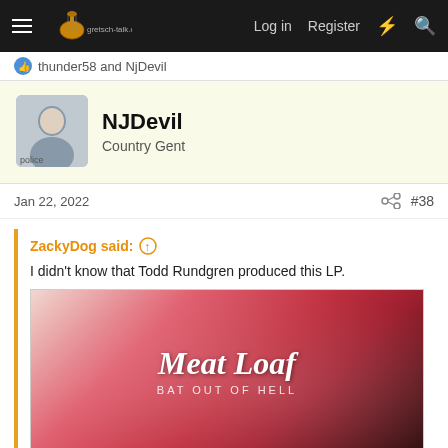gretsch-talk.com — Log in  Register
thunder58 and NjDevil
NJDevil
Country Gent
Jan 22, 2022  #38
ZackyDog said: ↑
I didn't know that Todd Rundgren produced this LP.
[Figure (photo): Album cover of Meat Loaf - Bat Out of Hell on vinyl record, red and pink gradient background with bold italic 'Meat Loaf' text and 'BAT OUT OF HELL' subtitle. Click to expand...]
Cool story too as they recorded the album in an old house that he swears was haunted. I forget where I saw this but it was some documentary the past 10 years. It might've actually have been on a